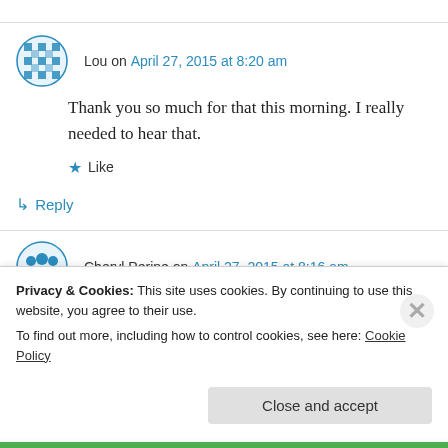Lou on April 27, 2015 at 8:20 am
Thank you so much for that this morning. I really needed to hear that.
★ Like
↳ Reply
Cheryl Perine on April 27, 2015 at 8:16 am
Privacy & Cookies: This site uses cookies. By continuing to use this website, you agree to their use. To find out more, including how to control cookies, see here: Cookie Policy
Close and accept